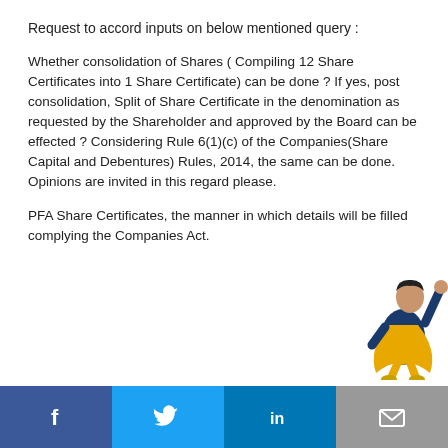Request to accord inputs on below mentioned query :
Whether consolidation of Shares ( Compiling 12 Share Certificates into 1 Share Certificate) can be done ? If yes, post consolidation, Split of Share Certificate in the denomination as requested by the Shareholder and approved by the Board can be effected ? Considering Rule 6(1)(c) of the Companies(Share Capital and Debentures) Rules, 2014, the same can be done. Opinions are invited in this regard please.
PFA Share Certificates, the manner in which details will be filled complying the Companies Act.
[Figure (illustration): Superhero figure in blue and yellow costume with fist raised, flying upward to the right]